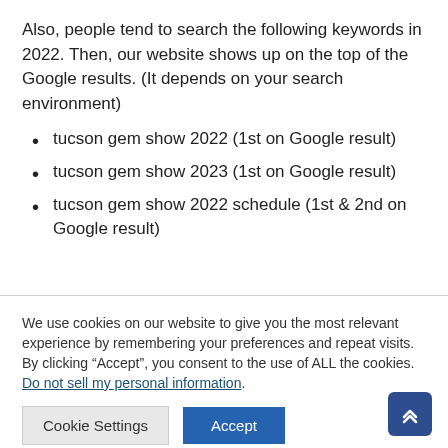Also, people tend to search the following keywords in 2022. Then, our website shows up on the top of the Google results. (It depends on your search environment)
tucson gem show 2022 (1st on Google result)
tucson gem show 2023 (1st on Google result)
tucson gem show 2022 schedule (1st & 2nd on Google result)
We use cookies on our website to give you the most relevant experience by remembering your preferences and repeat visits. By clicking “Accept”, you consent to the use of ALL the cookies. Do not sell my personal information.